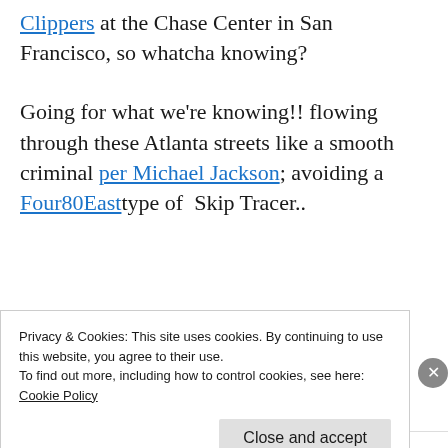Clippers at the Chase Center in San Francisco, so whatcha knowing?
Going for what we're knowing!! flowing through these Atlanta streets like a smooth criminal per Michael Jackson; avoiding a Four80East type of Skip Tracer..
Privacy & Cookies: This site uses cookies. By continuing to use this website, you agree to their use.
To find out more, including how to control cookies, see here:
Cookie Policy